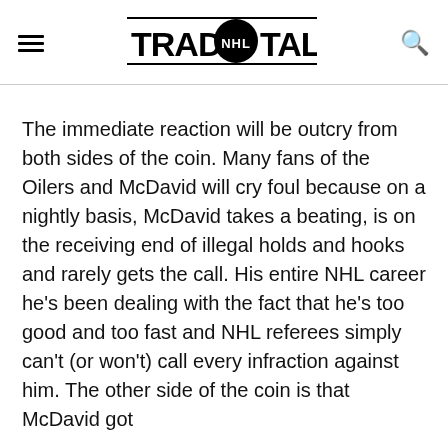TRADE NHL TALK
The immediate reaction will be outcry from both sides of the coin. Many fans of the Oilers and McDavid will cry foul because on a nightly basis, McDavid takes a beating, is on the receiving end of illegal holds and hooks and rarely gets the call. His entire NHL career he's been dealing with the fact that he's too good and too fast and NHL referees simply can't (or won't) call every infraction against him. The other side of the coin is that McDavid got